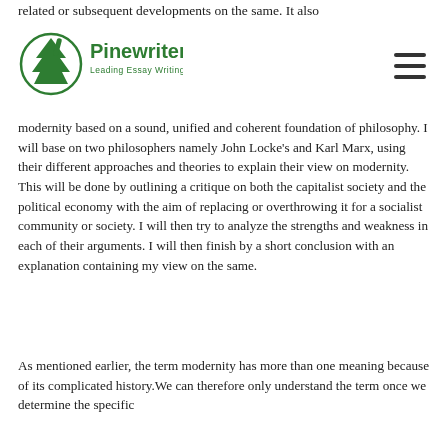related or subsequent developments on the same. It also
[Figure (logo): Pinewriters logo — green tree/pine icon with text 'Pinewriters' and tagline 'Leading Essay Writing Platform']
modernity based on a sound, unified and coherent foundation of philosophy. I will base on two philosophers namely John Locke's and Karl Marx, using their different approaches and theories to explain their view on modernity. This will be done by outlining a critique on both the capitalist society and the political economy with the aim of replacing or overthrowing it for a socialist community or society. I will then try to analyze the strengths and weakness in each of their arguments. I will then finish by a short conclusion with an explanation containing my view on the same.
As mentioned earlier, the term modernity has more than one meaning because of its complicated history.We can therefore only understand the term once we determine the specific